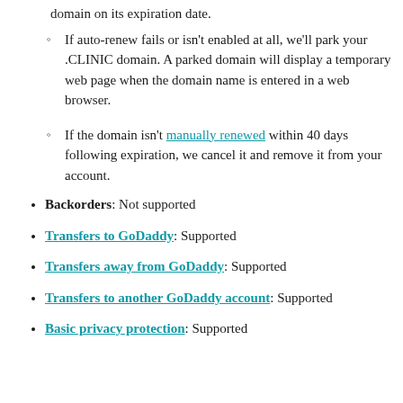If auto-renew fails or isn't enabled at all, we'll park your .CLINIC domain. A parked domain will display a temporary web page when the domain name is entered in a web browser.
If the domain isn't manually renewed within 40 days following expiration, we cancel it and remove it from your account.
Backorders: Not supported
Transfers to GoDaddy: Supported
Transfers away from GoDaddy: Supported
Transfers to another GoDaddy account: Supported
Basic privacy protection: Supported